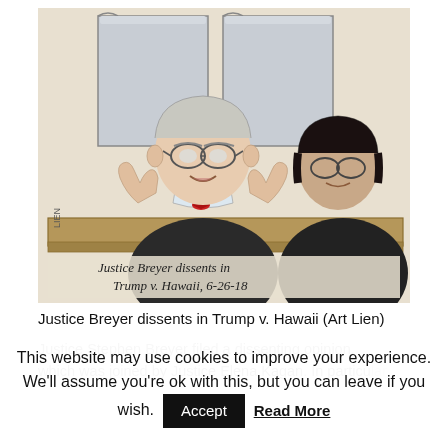[Figure (illustration): Courtroom sketch (pen and watercolor) of Justice Stephen Breyer in black robes with red bow tie, gesturing with hands raised, speaking at the bench. Justice Elena Kagan is visible behind/beside him, also in robes. Two large white panels are visible behind them. Handwritten text at the bottom reads: 'Justice Breyer dissents in Trump v. Hawaii, 6-26-18'. Artist signature 'LIEN' visible on the left side.]
Justice Breyer dissents in Trump v. Hawaii (Art Lien)
Justice Stephen Breyer filed a dissenting opinion, which was joined by Justice Elena Kagan. In particular...
This website may use cookies to improve your experience. We'll assume you're ok with this, but you can leave if you wish.